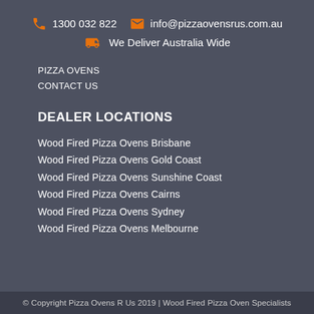1300 032 822   info@pizzaovensrus.com.au
We Deliver Australia Wide
PIZZA OVENS
CONTACT US
DEALER LOCATIONS
Wood Fired Pizza Ovens Brisbane
Wood Fired Pizza Ovens Gold Coast
Wood Fired Pizza Ovens Sunshine Coast
Wood Fired Pizza Ovens Cairns
Wood Fired Pizza Ovens Sydney
Wood Fired Pizza Ovens Melbourne
© Copyright Pizza Ovens R Us 2019 | Wood Fired Pizza Oven Specialists